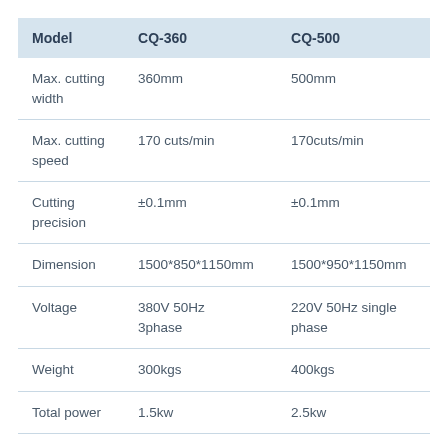| Model | CQ-360 | CQ-500 |
| --- | --- | --- |
| Max. cutting width | 360mm | 500mm |
| Max. cutting speed | 170 cuts/min | 170cuts/min |
| Cutting precision | ±0.1mm | ±0.1mm |
| Dimension | 1500*850*1150mm | 1500*950*1150mm |
| Voltage | 380V 50Hz
3phase | 220V 50Hz single
phase |
| Weight | 300kgs | 400kgs |
| Total power | 1.5kw | 2.5kw |